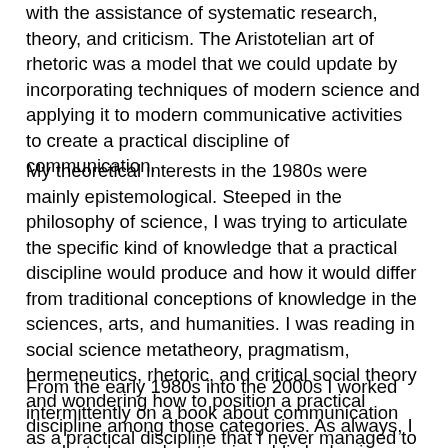with the assistance of systematic research, theory, and criticism. The Aristotelian art of rhetoric was a model that we could update by incorporating techniques of modern science and applying it to modern communicative activities to create a practical discipline of communication.
My theoretical interests in the 1980s were mainly epistemological. Steeped in the philosophy of science, I was trying to articulate the specific kind of knowledge that a practical discipline would produce and how it would differ from traditional conceptions of knowledge in the sciences, arts, and humanities. I was reading in social science metatheory, pragmatism, hermeneutics, rhetoric, and critical social theory and wondering how to position a practical discipline among those categories. As always, I conducted my education in public by having my theory seminar students read the very things I was struggling to understand.
From the early 1980s into the 2000s I worked intermittently on a book about communication as a practical discipline that I never managed to complete. Material written for the book was spun off as convention papers, articles and book